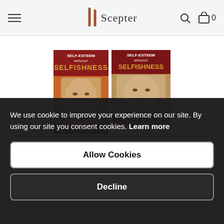Scepter
[Figure (photo): Two book covers of 'Self-Esteem Without Selfishness' showing a young man's face on an orange/brown background]
9781594171895
Self-Esteem Without Selfishness: Increasing
We use cookie to improve your experience on our site. By using our site you consent cookies. Learn more
Allow Cookies
Decline